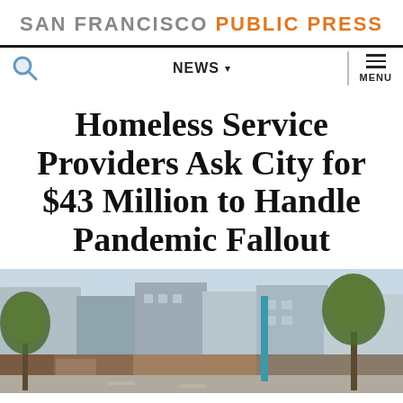SAN FRANCISCO PUBLIC PRESS
[Figure (screenshot): Navigation bar with search icon, NEWS dropdown, and MENU button]
Homeless Service Providers Ask City for $43 Million to Handle Pandemic Fallout
[Figure (photo): Street scene in San Francisco showing buildings, trees, and storefronts]